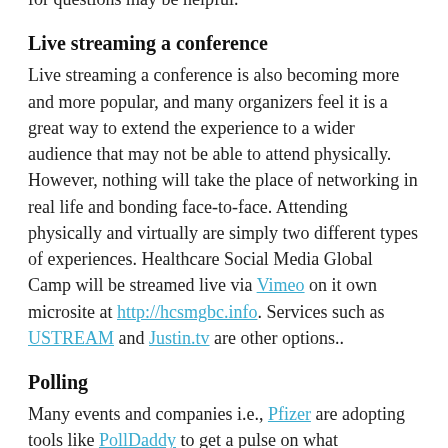for questions may be helpful.
Live streaming a conference
Live streaming a conference is also becoming more and more popular, and many organizers feel it is a great way to extend the experience to a wider audience that may not be able to attend physically. However, nothing will take the place of networking in real life and bonding face-to-face. Attending physically and virtually are simply two different types of experiences. Healthcare Social Media Global Camp will be streamed live via Vimeo on it own microsite at http://hcsmgbc.info. Services such as USTREAM and Justin.tv are other options..
Polling
Many events and companies i.e., Pfizer are adopting tools like PollDaddy to get a pulse on what constituents find interesting or valuable. An event organizer may poll attendees prior to an event to gauge